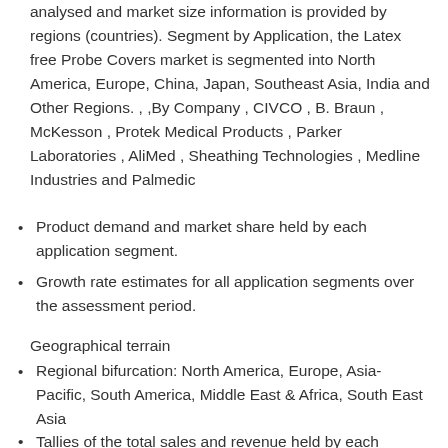analysed and market size information is provided by regions (countries). Segment by Application, the Latex free Probe Covers market is segmented into North America, Europe, China, Japan, Southeast Asia, India and Other Regions. , ,By Company , CIVCO , B. Braun , McKesson , Protek Medical Products , Parker Laboratories , AliMed , Sheathing Technologies , Medline Industries and Palmedic
Product demand and market share held by each application segment.
Growth rate estimates for all application segments over the assessment period.
Geographical terrain
Regional bifurcation: North America, Europe, Asia-Pacific, South America, Middle East & Africa, South East Asia
Tallies of the total sales and revenue held by each regional market.
Annual growth rate of the key regional contributors over